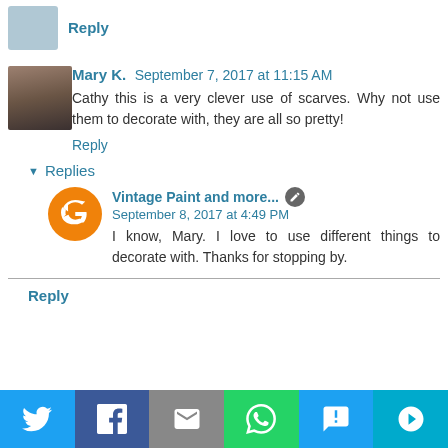Reply
Mary K.  September 7, 2017 at 11:15 AM
Cathy this is a very clever use of scarves. Why not use them to decorate with, they are all so pretty!
Reply
Replies
Vintage Paint and more...  September 8, 2017 at 4:49 PM
I know, Mary. I love to use different things to decorate with. Thanks for stopping by.
Reply
[Figure (infographic): Social sharing bar with Twitter, Facebook, Email, WhatsApp, SMS, and More buttons]